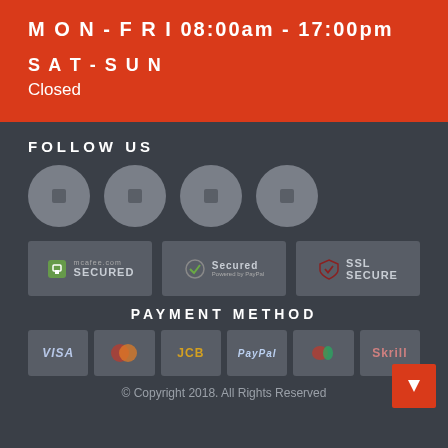MON - FRI 08:00am - 17:00pm
SAT - SUN
Closed
FOLLOW US
[Figure (infographic): Four grey circular social media icon buttons in a row]
[Figure (infographic): Three security badges: SECURED, Secured (PayPal), SSL SECURE]
PAYMENT METHOD
[Figure (infographic): Six payment method logos: VISA, Mastercard, JCB, PayPal, UnionPay, Skrill]
© Copyright 2018. All Rights Reserved